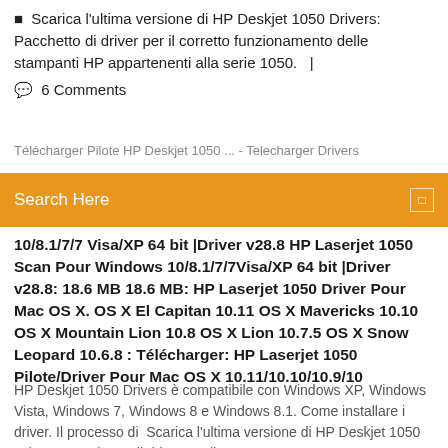🔒 Scarica l'ultima versione di HP Deskjet 1050 Drivers: Pacchetto di driver per il corretto funzionamento delle stampanti HP appartenenti alla serie 1050.   |
💬 6 Comments
Télécharger Pilote HP Deskjet 1050 ... - Telecharger Drivers
Search Here
10/8.1/7/7 Visa/XP 64 bit |Driver v28.8 HP Laserjet 1050 Scan Pour Windows 10/8.1/7/7Visa/XP 64 bit |Driver v28.8: 18.6 MB 18.6 MB: HP Laserjet 1050 Driver Pour Mac OS X. OS X El Capitan 10.11 OS X Mavericks 10.10 OS X Mountain Lion 10.8 OS X Lion 10.7.5 OS X Snow Leopard 10.6.8 : Télécharger: HP Laserjet 1050 Pilote/Driver Pour Mac OS X 10.11/10.10/10.9/10
HP Deskjet 1050 Drivers è compatibile con Windows XP, Windows Vista, Windows 7, Windows 8 e Windows 8.1. Come installare i driver. Il processo di  Scarica l'ultima versione di HP Deskjet 1050 Drivers: Pacchetto di driver per il corretto